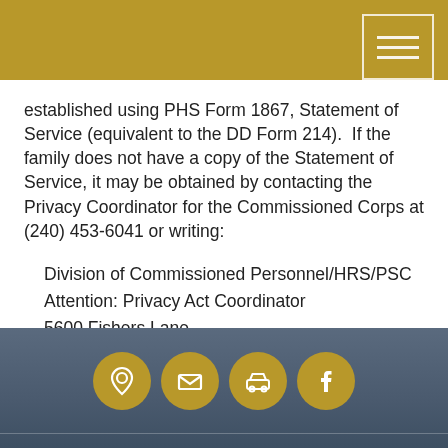established using PHS Form 1867, Statement of Service (equivalent to the DD Form 214). If the family does not have a copy of the Statement of Service, it may be obtained by contacting the Privacy Coordinator for the Commissioned Corps at (240) 453-6041 or writing:
Division of Commissioned Personnel/HRS/PSC
Attention: Privacy Act Coordinator
5600 Fishers Lane
4-36
Rockville, Maryland 20857
[Figure (infographic): Footer bar with four circular icon buttons (location/settings, email, car/drive, Facebook) on a dark blue-grey gradient background]